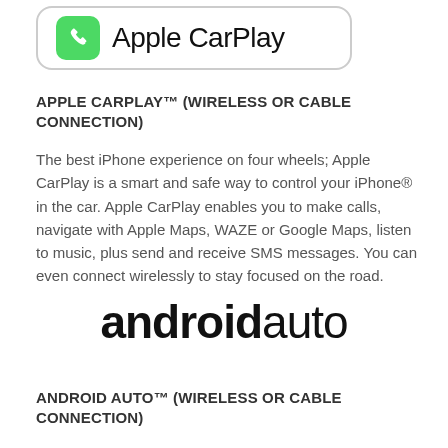[Figure (logo): Apple CarPlay logo with green phone icon and text 'Apple CarPlay' inside a rounded rectangle border]
APPLE CARPLAY™ (WIRELESS OR CABLE CONNECTION)
The best iPhone experience on four wheels; Apple CarPlay is a smart and safe way to control your iPhone® in the car. Apple CarPlay enables you to make calls, navigate with Apple Maps, WAZE or Google Maps, listen to music, plus send and receive SMS messages. You can even connect wirelessly to stay focused on the road.
[Figure (logo): Android Auto logo in black text: 'androidauto' with 'android' in bold]
ANDROID AUTO™ (WIRELESS OR CABLE CONNECTION)